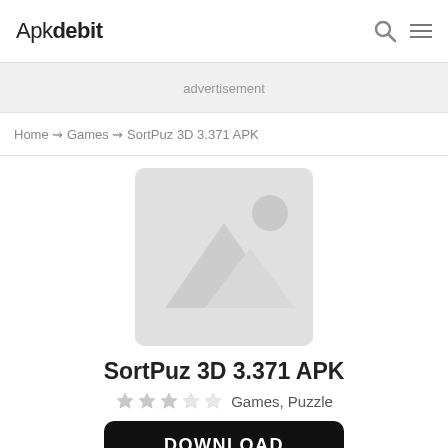Apkdebit
advertisement
Home ⇝ Games ⇝ SortPuz 3D 3.371 APK
[Figure (illustration): App icon placeholder image for SortPuz 3D, showing a generic gray image placeholder with a landscape/mountain icon]
SortPuz 3D 3.371 APK
★★★☆☆ Games, Puzzle
DOWNLOAD